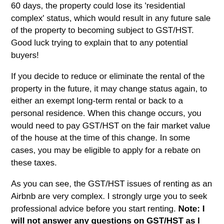60 days, the property could lose its 'residential complex' status, which would result in any future sale of the property to becoming subject to GST/HST. Good luck trying to explain that to any potential buyers!
If you decide to reduce or eliminate the rental of the property in the future, it may change status again, to either an exempt long-term rental or back to a personal residence. When this change occurs, you would need to pay GST/HST on the fair market value of the house at the time of this change. In some cases, you may be eligible to apply for a rebate on these taxes.
As you can see, the GST/HST issues of renting as an Airbnb are very complex. I strongly urge you to seek professional advice before you start renting. Note: I will not answer any questions on GST/HST as I am not an expert in this area. I am just making you aware of the issues you must consider.
Income Tax